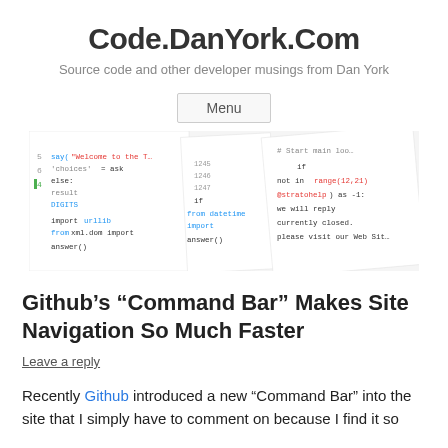Code.DanYork.Com
Source code and other developer musings from Dan York
Menu
[Figure (screenshot): Screenshot of code editor showing Python code snippets with syntax highlighting in green, blue, and red on a white background]
Github’s “Command Bar” Makes Site Navigation So Much Faster
Leave a reply
Recently Github introduced a new “Command Bar” into the site that I simply have to comment on because I find it so